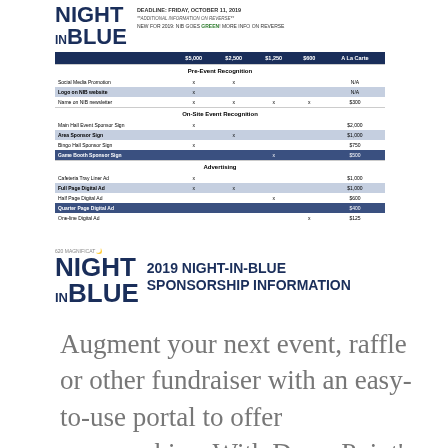[Figure (other): Night in Blue event sponsorship form with logo, deadline information, and sponsorship levels table including Pre-Event Recognition, On-Site Event Recognition, and Advertising sections]
[Figure (logo): Magnificat Night in Blue logo with text '2019 NIGHT-IN-BLUE SPONSORSHIP INFORMATION']
Augment your next event, raffle or other fundraiser with an easy-to-use portal to offer sponsorships. With DonorPoint's Sponsorship